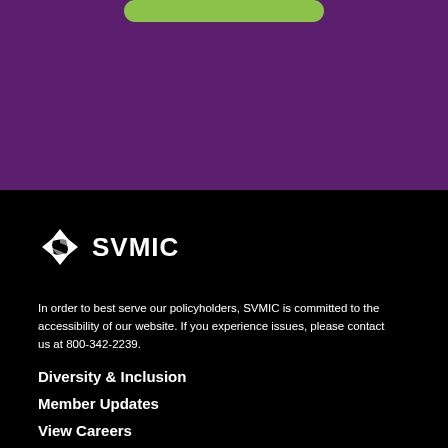[Figure (other): Purple background header section with a green rounded button at top]
[Figure (logo): SVMIC logo: white diamond/pinwheel icon next to white bold text SVMIC on black background]
In order to best serve our policyholders, SVMIC is committed to the accessibility of our website. If you experience issues, please contact us at 800-342-2239.
Diversity & Inclusion
Member Updates
View Careers